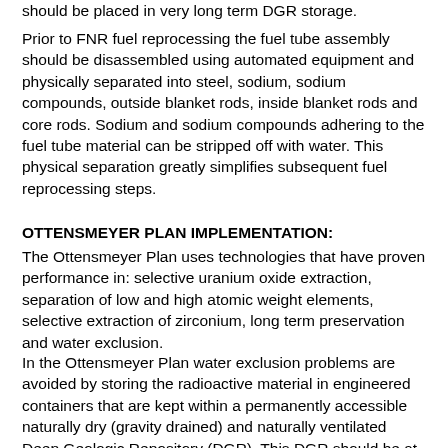should be placed in very long term DGR storage.
Prior to FNR fuel reprocessing the fuel tube assembly should be disassembled using automated equipment and physically separated into steel, sodium, sodium compounds, outside blanket rods, inside blanket rods and core rods. Sodium and sodium compounds adhering to the fuel tube material can be stripped off with water. This physical separation greatly simplifies subsequent fuel reprocessing steps.
OTTENSMEYER PLAN IMPLEMENTATION:
The Ottensmeyer Plan uses technologies that have proven performance in: selective uranium oxide extraction, separation of low and high atomic weight elements, selective extraction of zirconium, long term preservation and water exclusion.
In the Ottensmeyer Plan water exclusion problems are avoided by storing the radioactive material in engineered containers that are kept within a permanently accessible naturally dry (gravity drained) and naturally ventilated Deep Geologic Repository (DGR). This DGR should be at least 300 m above the local water table and should be kept at atmospheric pressure and temperature by natural ventilation. Resistance to DGR damage by glaciation and other events